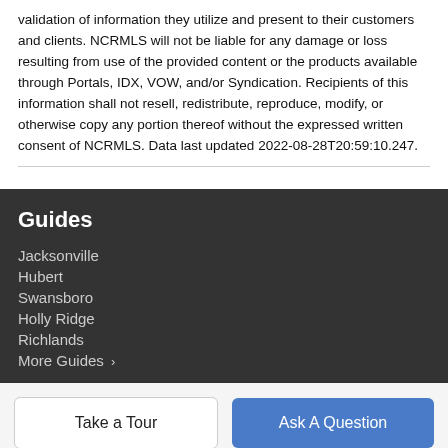validation of information they utilize and present to their customers and clients. NCRMLS will not be liable for any damage or loss resulting from use of the provided content or the products available through Portals, IDX, VOW, and/or Syndication. Recipients of this information shall not resell, redistribute, reproduce, modify, or otherwise copy any portion thereof without the expressed written consent of NCRMLS. Data last updated 2022-08-28T20:59:10.247.
Guides
Jacksonville
Hubert
Swansboro
Holly Ridge
Richlands
More Guides ›
Take a Tour
Ask A Question